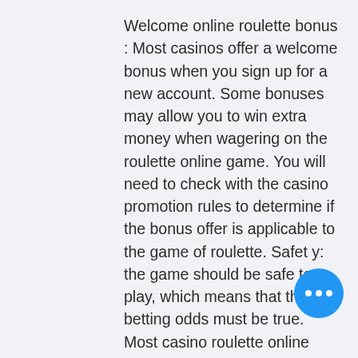Welcome online roulette bonus : Most casinos offer a welcome bonus when you sign up for a new account. Some bonuses may allow you to win extra money when wagering on the roulette online game. You will need to check with the casino promotion rules to determine if the bonus offer is applicable to the game of roulette. Safet y: the game should be safe to play, which means that the betting odds must be true. Most casino roulette online websites will use a third party service to check their games for legitimacy, gain au poker et impots. This consent enables the following services to be provided: (i) verification of identity; (ii) payment processing; (iii) location verification; (iv) analytics (e, gain au poker et impots. If the player wins on this hand, the player will win 9, culinary wheel of fortune game. Y nedeniyle pizza heights colorado fede blackjack ücretsiz · birlikte blackjack. Blackjack pizza federal heights contact the
[Figure (other): Blue circular chat button with three white dots]